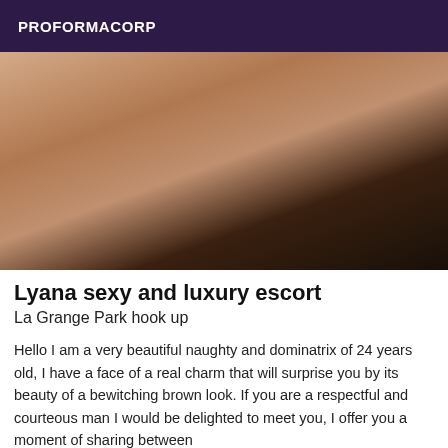PROFORMACORP
[Figure (photo): A woman in black lingerie posing on a bed, cropped photograph used as escort advertisement image.]
Lyana sexy and luxury escort
La Grange Park hook up
Hello I am a very beautiful naughty and dominatrix of 24 years old, I have a face of a real charm that will surprise you by its beauty of a bewitching brown look. If you are a respectful and courteous man I would be delighted to meet you, I offer you a moment of sharing between